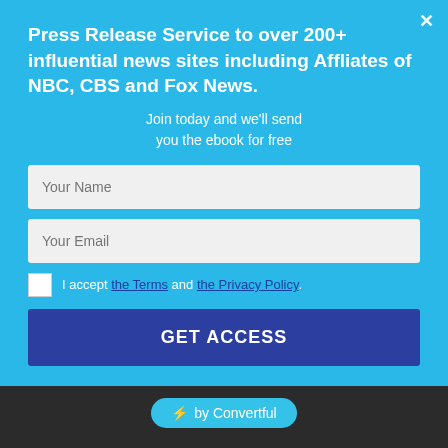Press Release Service to over 200+ influential news sites including Affliates of NBC, CBS and Fox News.
Join today and we'll send you the ebook for free
Your Name
Your Email
I accept the Terms and the Privacy Policy.
GET ACCESS
⚡ by Convertful
POPULAR POSTS
Satta Matka